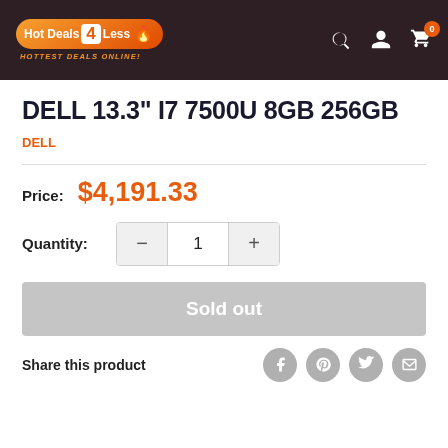[Figure (logo): Hot Deals 4 Less logo with flame icon and tagline HOTTEST DEALS ONLINE!]
DELL 13.3" I7 7500U 8GB 256GB
DELL
Price: $4,191.33
Quantity: 1
Sold out
Share this product